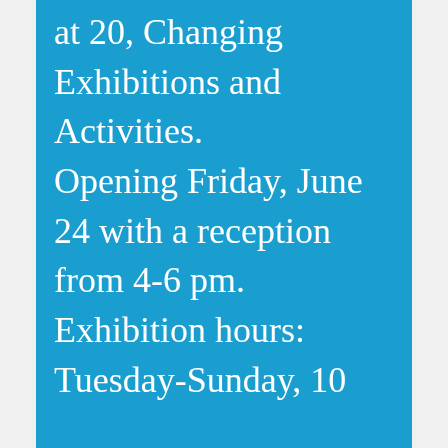at 20, Changing Exhibitions and Activities. Opening Friday, June 24 with a reception from 4-6 pm. Exhibition hours: Tuesday-Sunday, 10